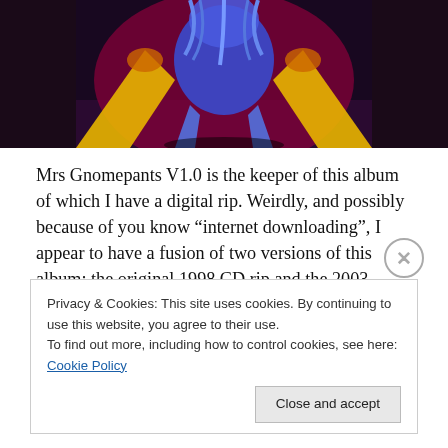[Figure (illustration): Album artwork showing a colorful illustration with blue, yellow, red, and purple tones — appears to be a character with outstretched limbs against a dark background, only the bottom portion visible.]
Mrs Gnomepants V1.0 is the keeper of this album of which I have a digital rip. Weirdly, and possibly because of you know “internet downloading”, I appear to have a fusion of two versions of this album: the original 1998 CD rip and the 2003 Special Edition.
Of the two versions, it’s the original I prefer, I’m not sure why producers think remixing things is something people
Privacy & Cookies: This site uses cookies. By continuing to use this website, you agree to their use.
To find out more, including how to control cookies, see here: Cookie Policy
Close and accept